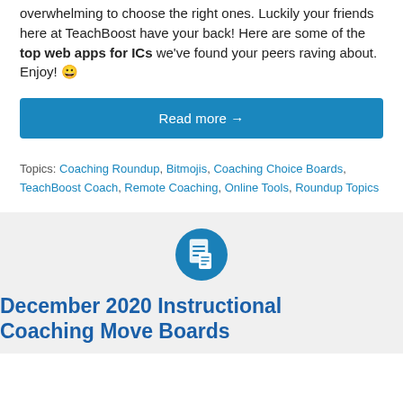overwhelming to choose the right ones. Luckily your friends here at TeachBoost have your back! Here are some of the top web apps for ICs we've found your peers raving about. Enjoy! 😀
Read more →
Topics: Coaching Roundup, Bitmojis, Coaching Choice Boards, TeachBoost Coach, Remote Coaching, Online Tools, Roundup Topics
[Figure (illustration): Document icon in a blue circle]
December 2020 Instructional Coaching Move Boards